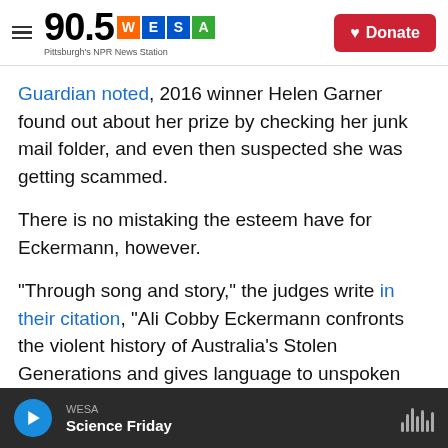90.5 WESA — Pittsburgh's NPR News Station | Donate
Guardian noted, 2016 winner Helen Garner found out about her prize by checking her junk mail folder, and even then suspected she was getting scammed.
There is no mistaking the esteem have for Eckermann, however.
"Through song and story," the judges write in their citation, "Ali Cobby Eckermann confronts the violent history of Australia's Stolen Generations and gives language to unspoken lineages of trauma and loss."
WESA — Science Friday